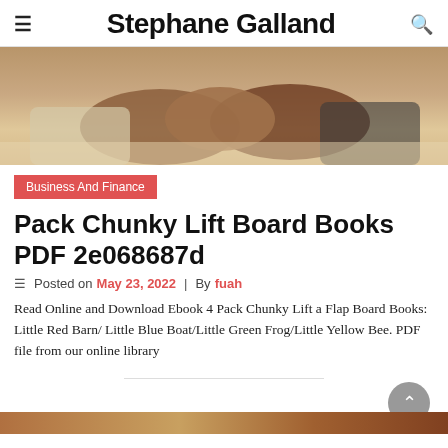≡  Stephane Galland  🔍
[Figure (photo): Close-up photo of two people shaking hands in a business setting, cropped to show hands and suit sleeves]
Business And Finance
Pack Chunky Lift Board Books PDF 2e068687d
Posted on May 23, 2022 | By fuah
Read Online and Download Ebook 4 Pack Chunky Lift a Flap Board Books: Little Red Barn/ Little Blue Boat/Little Green Frog/Little Yellow Bee. PDF file from our online library
[Figure (photo): Partial bottom strip of another image, showing warm brown/orange tones, cropped at very bottom of page]